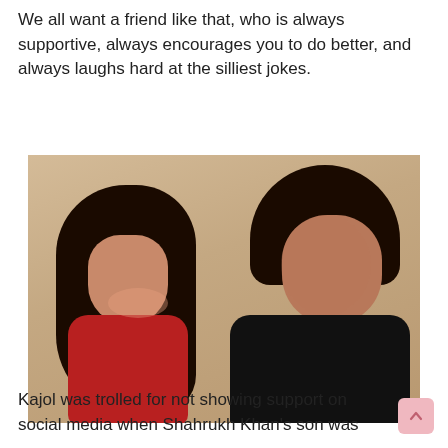We all want a friend like that, who is always supportive, always encourages you to do better, and always laughs hard at the silliest jokes.
[Figure (photo): A woman in a red outfit with long black hair leaning and smiling up at a man in a black outfit, both posing against a warm beige background.]
Kajol was trolled for not showing support on social media when Shahrukh Khan's son was